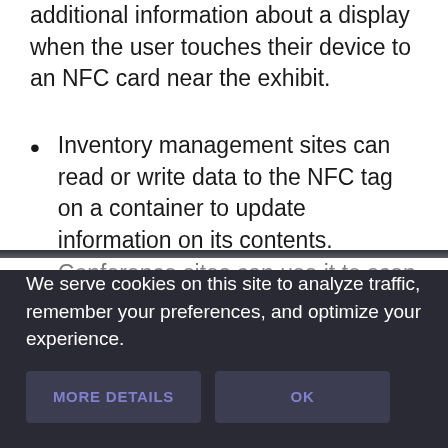additional information about a display when the user touches their device to an NFC card near the exhibit.
Inventory management sites can read or write data to the NFC tag on a container to update information on its contents.
Conference sites can use it to scan NFC badges during the event and make sure the…
We serve cookies on this site to analyze traffic, remember your preferences, and optimize your experience.
MORE DETAILS   OK